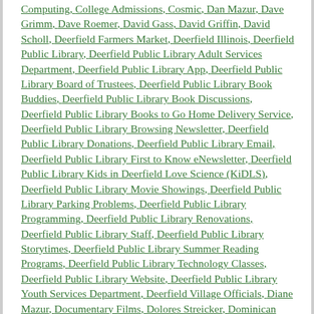Computing, College Admissions, Cosmic, Dan Mazur, Dave Grimm, Dave Roemer, David Gass, David Griffin, David Scholl, Deerfield Farmers Market, Deerfield Illinois, Deerfield Public Library, Deerfield Public Library Adult Services Department, Deerfield Public Library App, Deerfield Public Library Board of Trustees, Deerfield Public Library Book Buddies, Deerfield Public Library Book Discussions, Deerfield Public Library Books to Go Home Delivery Service, Deerfield Public Library Browsing Newsletter, Deerfield Public Library Donations, Deerfield Public Library Email, Deerfield Public Library First to Know eNewsletter, Deerfield Public Library Kids in Deerfield Love Science (KiDLS), Deerfield Public Library Movie Showings, Deerfield Public Library Parking Problems, Deerfield Public Library Programming, Deerfield Public Library Renovations, Deerfield Public Library Staff, Deerfield Public Library Storytimes, Deerfield Public Library Summer Reading Programs, Deerfield Public Library Technology Classes, Deerfield Public Library Website, Deerfield Public Library Youth Services Department, Deerfield Village Officials, Diane Mazur, Documentary Films, Dolores Streicker, Dominican University, Donna Abosch,